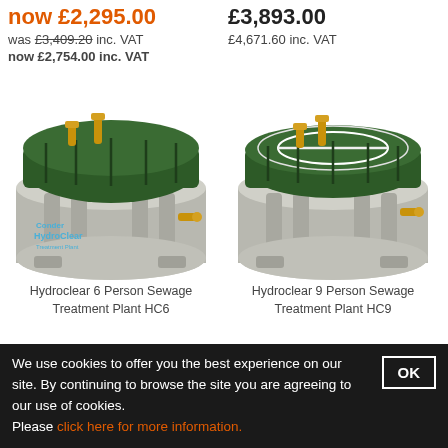now £2,295.00
was £3,409.20 inc. VAT
now £2,754.00 inc. VAT
£3,893.00
£4,671.60 inc. VAT
[Figure (photo): Hydroclear 6 Person Sewage Treatment Plant HC6 - grey tank with dark green lid and gold fittings]
Hydroclear 6 Person Sewage Treatment Plant HC6
[Figure (photo): Hydroclear 9 Person Sewage Treatment Plant HC9 - grey tank with dark green lid and gold fittings]
Hydroclear 9 Person Sewage Treatment Plant HC9
We use cookies to offer you the best experience on our site. By continuing to browse the site you are agreeing to our use of cookies.
Please click here for more information.